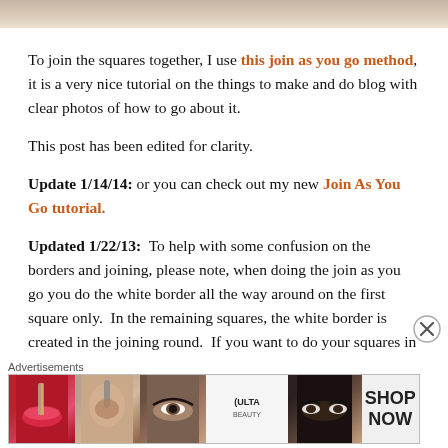[Figure (photo): Top portion of a photo showing a light-colored background, partially cropped]
To join the squares together, I use this join as you go method, it is a very nice tutorial on the things to make and do blog with clear photos of how to go about it.
This post has been edited for clarity.
Update 1/14/14: or you can check out my new Join As You Go tutorial.
Updated 1/22/13:  To help with some confusion on the borders and joining, please note, when doing the join as you go you do the white border all the way around on the first square only.  In the remaining squares, the white border is created in the joining round.  If you want to do your squares in advance and then join, just
Advertisements
[Figure (photo): ULTA beauty advertisement banner showing makeup/beauty images: lips with lipstick, makeup brush, eye with eyeliner, ULTA logo, dramatic eye makeup, and SHOP NOW text]